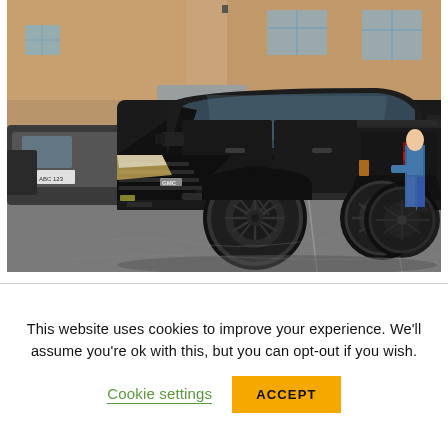[Figure (photo): A large black GMC heavy-duty pickup truck (dually) parked in a commercial parking lot in front of a tan/brown commercial building with blue-grey window accents. An XPEL branded storefront sign is visible on the right. A person in a blue shirt and jeans stands near the right side of the truck. Other vehicles are partially visible in the background.]
This website uses cookies to improve your experience. We'll assume you're ok with this, but you can opt-out if you wish.
Cookie settings
ACCEPT